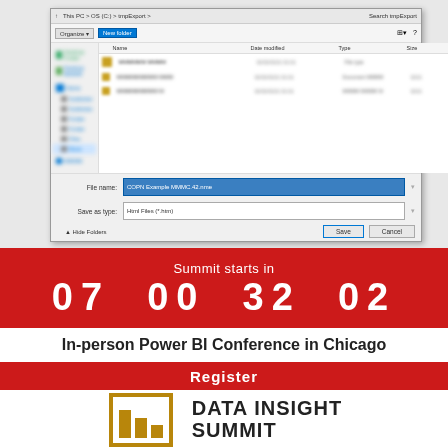[Figure (screenshot): Windows file save dialog showing a folder browser with files listed. File name field shows a highlighted blue entry. Save as type shows 'Html Files (*.htm)'. Save and Cancel buttons visible at bottom right.]
Summit starts in
07  00  32  02
In-person Power BI Conference in Chicago
Register
[Figure (logo): Data Insight Summit logo with gold bar chart icon and bold text reading DATA INSIGHT SUMMIT]